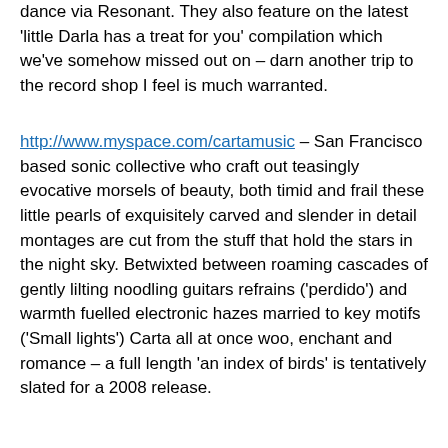dance via Resonant. They also feature on the latest 'little Darla has a treat for you' compilation which we've somehow missed out on – darn another trip to the record shop I feel is much warranted.
http://www.myspace.com/cartamusic – San Francisco based sonic collective who craft out teasingly evocative morsels of beauty, both timid and frail these little pearls of exquisitely carved and slender in detail montages are cut from the stuff that hold the stars in the night sky. Betwixted between roaming cascades of gently lilting noodling guitars refrains ('perdido') and warmth fuelled electronic hazes married to key motifs ('Small lights') Carta all at once woo, enchant and romance – a full length 'an index of birds' is tentatively slated for a 2008 release.